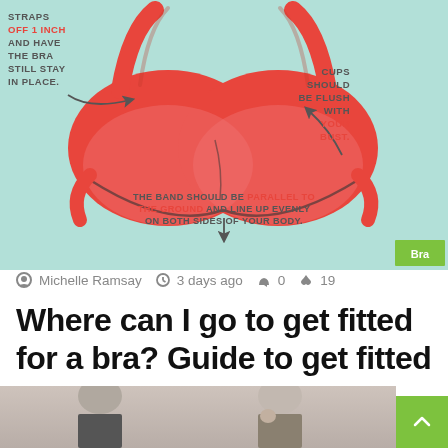[Figure (infographic): Bra fitting infographic on light teal background showing a red bra with annotations: 'STRAPS OFF 1 INCH AND HAVE THE BRA STILL STAY IN PLACE' on the left with an arrow, 'CUPS SHOULD BE FLUSH WITH YOUR BUST.' on the right in red/grey, and 'THE BAND SHOULD BE PARALLEL TO THE GROUND AND LINE UP EVENLY ON BOTH SIDES OF YOUR BODY.' at the bottom. A green 'Bra' tag is in the bottom right corner.]
Michelle Ramsay  3 days ago  0  19
Where can I go to get fitted for a bra? Guide to get fitted